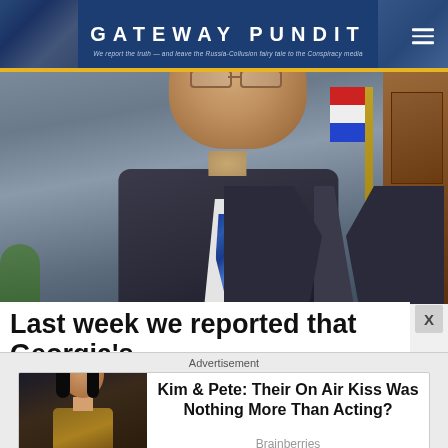GATEWAY PUNDIT — We report the truth — and leave the Russia-Collusion fairy tale to the Conspiracy media
[Figure (photo): A man in a dark suit with a blue striped tie, grey hair and glasses, speaking indoors with an American flag in the background]
Last week we reported that Georgia's
Advertisement
[Figure (photo): Advertisement image showing a woman in a gold outfit]
Kim & Pete: Their On Air Kiss Was Nothing More Than Acting?
Brainberries